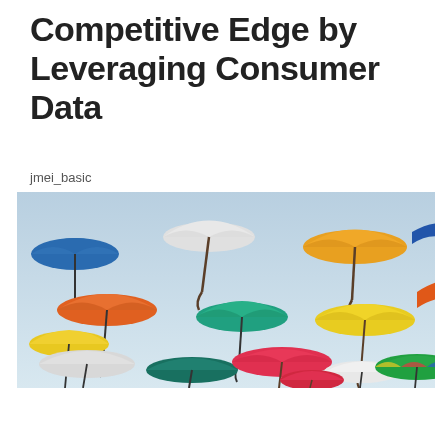Competitive Edge by Leveraging Consumer Data
jmei_basic
[Figure (photo): Colorful umbrellas floating against a light blue sky, viewed from below. Multiple umbrellas of various colors including blue, yellow, orange, red, green, white, and teal are suspended in the air.]